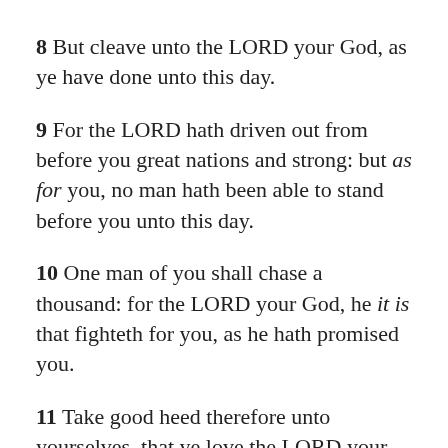8 But cleave unto the LORD your God, as ye have done unto this day.
9 For the LORD hath driven out from before you great nations and strong: but as for you, no man hath been able to stand before you unto this day.
10 One man of you shall chase a thousand: for the LORD your God, he it is that fighteth for you, as he hath promised you.
11 Take good heed therefore unto yourselves, that ye love the LORD your God.
12 Else if ye do in any wise go back, and cleave unto the remnant of these